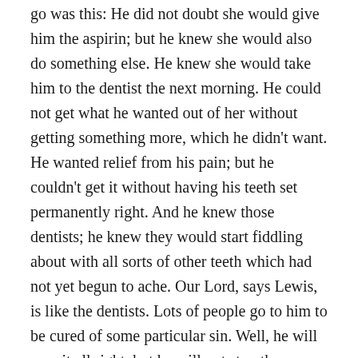go was this: He did not doubt she would give him the aspirin; but he knew she would also do something else. He knew she would take him to the dentist the next morning. He could not get what he wanted out of her without getting something more, which he didn't want. He wanted relief from his pain; but he couldn't get it without having his teeth set permanently right. And he knew those dentists; he knew they would start fiddling about with all sorts of other teeth which had not yet begun to ache. Our Lord, says Lewis, is like the dentists. Lots of people go to him to be cured of some particular sin. Well, he will cure it all right, but he will not stop there. That may be all you asked; but if you once call him in, he will give you the full treatment.
God's sanctifying grace works on those problematic places...those sinful places in our lives. Conviction is